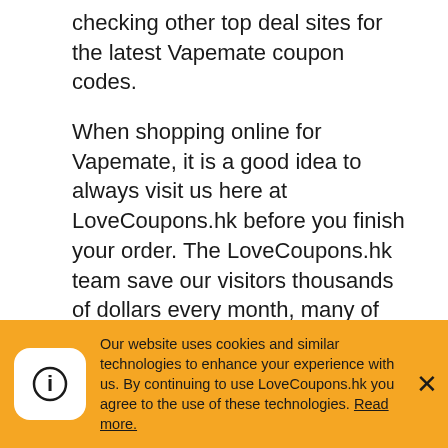checking other top deal sites for the latest Vapemate coupon codes.
When shopping online for Vapemate, it is a good idea to always visit us here at LoveCoupons.hk before you finish your order. The LoveCoupons.hk team save our visitors thousands of dollars every month, many of which never knew Vapemate discount codes were available until visiting our site. Now that you know how easy it is to save at Vapemate with our promo and coupon codes, bookmark LoveCoupons.hk and always check us out before you checkout.
If you are looking for more than just Vapemate
Our website uses cookies and similar technologies to enhance your experience with us. By continuing to use LoveCoupons.hk you agree to the use of these technologies. Read more.